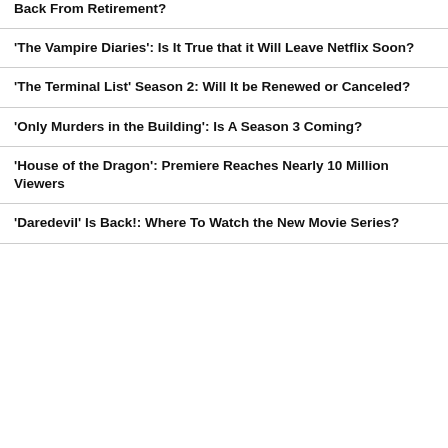Back From Retirement?
'The Vampire Diaries': Is It True that it Will Leave Netflix Soon?
'The Terminal List' Season 2: Will It be Renewed or Canceled?
'Only Murders in the Building': Is A Season 3 Coming?
'House of the Dragon': Premiere Reaches Nearly 10 Million Viewers
'Daredevil' Is Back!: Where To Watch the New Movie Series?